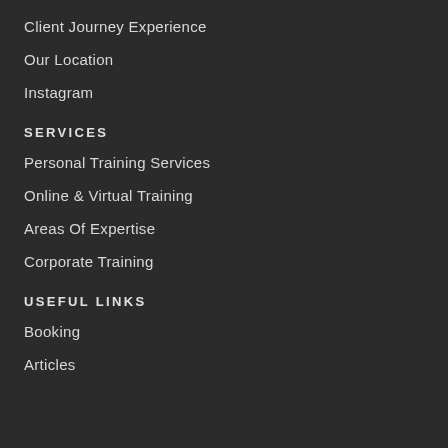Client Journey Experience
Our Location
Instagram
SERVICES
Personal Training Services
Online & Virtual Training
Areas Of Expertise
Corporate Training
USEFUL LINKS
Booking
Articles